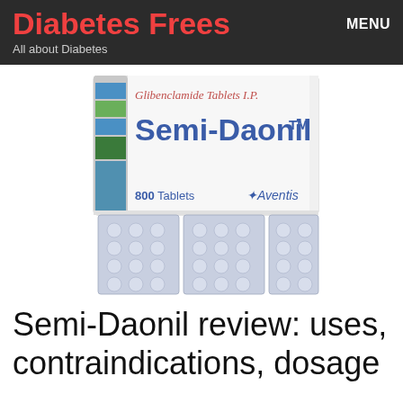Diabetes Frees — All about Diabetes | MENU
[Figure (photo): Photo of Semi-Daonil (Glibenclamide Tablets I.P.) medicine box by Aventis showing 800 Tablets, with blister packs of tablets visible below the box.]
Semi-Daonil review: uses, contraindications, dosage